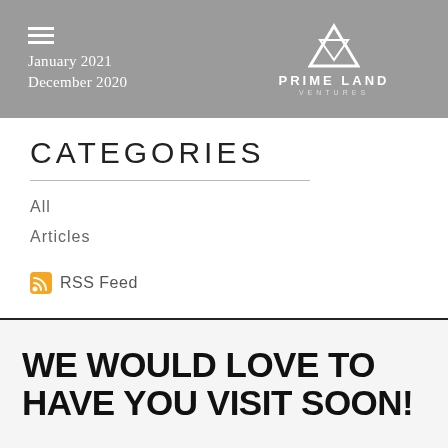January 2021 / December 2020 — Prime Land Ventures
CATEGORIES
All
Articles
RSS Feed
WE WOULD LOVE TO HAVE YOU VISIT SOON!